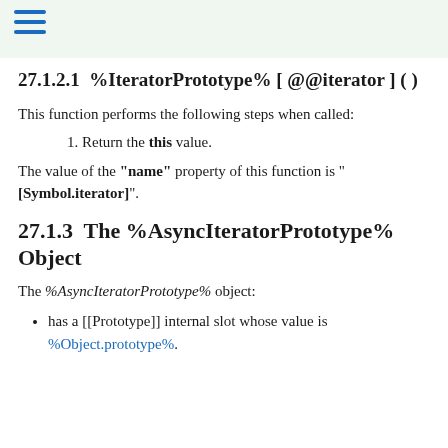27.1.2.1  %IteratorPrototype% [ @@iterator ] ( )
This function performs the following steps when called:
Return the this value.
The value of the "name" property of this function is "[Symbol.iterator]".
27.1.3  The %AsyncIteratorPrototype% Object
The %AsyncIteratorPrototype% object:
has a [[Prototype]] internal slot whose value is %Object.prototype%.